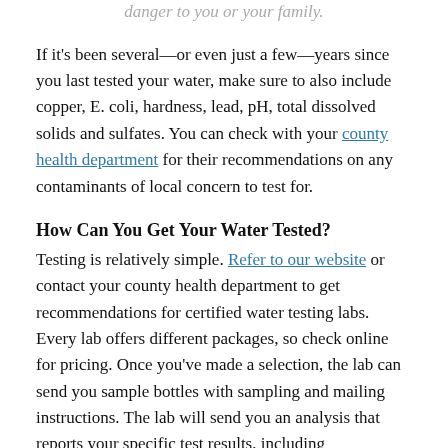danger to you or your family.
If it's been several—or even just a few—years since you last tested your water, make sure to also include copper, E. coli, hardness, lead, pH, total dissolved solids and sulfates. You can check with your county health department for their recommendations on any contaminants of local concern to test for.
How Can You Get Your Water Tested?
Testing is relatively simple. Refer to our website or contact your county health department to get recommendations for certified water testing labs. Every lab offers different packages, so check online for pricing. Once you've made a selection, the lab can send you sample bottles with sampling and mailing instructions. The lab will send you an analysis that reports your specific test results, including